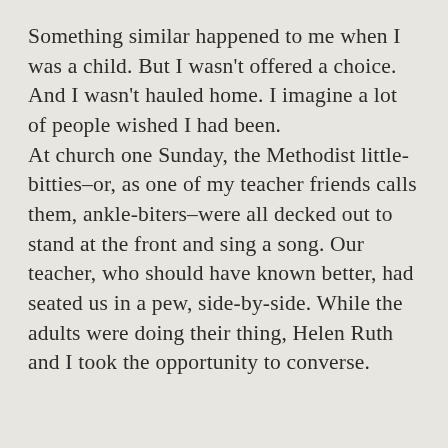Something similar happened to me when I was a child. But I wasn't offered a choice. And I wasn't hauled home. I imagine a lot of people wished I had been. At church one Sunday, the Methodist little-bitties–or, as one of my teacher friends calls them, ankle-biters–were all decked out to stand at the front and sing a song. Our teacher, who should have known better, had seated us in a pew, side-by-side. While the adults were doing their thing, Helen Ruth and I took the opportunity to converse.